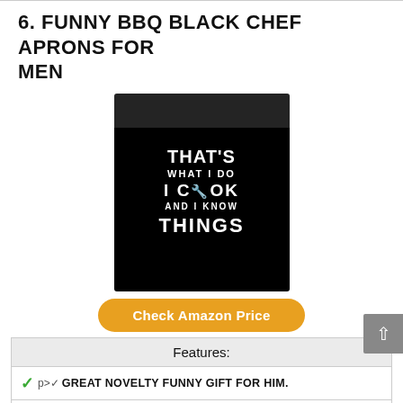6. FUNNY BBQ BLACK CHEF APRONS FOR MEN
[Figure (photo): Black chef apron worn by a person, with text 'THAT'S WHAT I DO I COOK AND I KNOW THINGS' printed in white on the front.]
Check Amazon Price
| Features: |
| --- |
| ✓ p>✓ GREAT NOVELTY FUNNY GIFT FOR HIM. |
| ✓ p>✓ PREMIUM QUALITY FOR BETTER PROTECTION. |
| ✓ p>✓ ONE SIZE FITS ALL. |